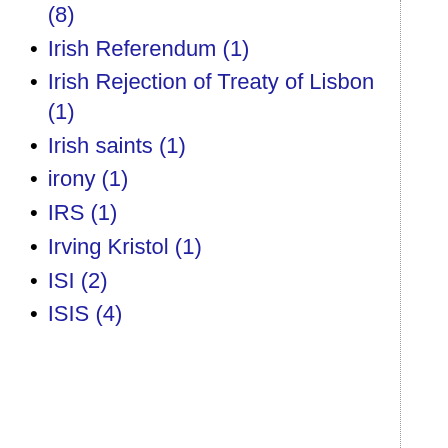(8)
Irish Referendum (1)
Irish Rejection of Treaty of Lisbon (1)
Irish saints (1)
irony (1)
IRS (1)
Irving Kristol (1)
ISI (2)
ISIS (4)